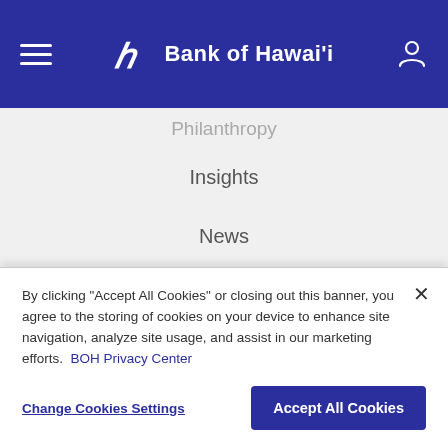Bank of Hawai'i
Philanthropy
Insights
News
Investor Relations
[Figure (other): Social media icons row: Instagram, Facebook, Twitter, YouTube, LinkedIn]
By clicking “Accept All Cookies” or closing out this banner, you agree to the storing of cookies on your device to enhance site navigation, analyze site usage, and assist in our marketing efforts. BOH Privacy Center
Change Cookies Settings | Accept All Cookies